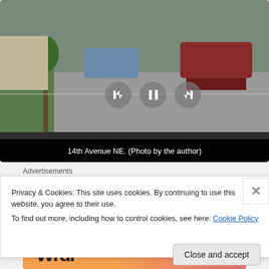[Figure (photo): Street scene photo of 14th Avenue NE with cars parked, showing media player controls (back, pause, forward). Caption bar reads '14th Avenue NE. (Photo by the author)']
14th Avenue NE. (Photo by the author)
Advertisements
[Figure (screenshot): Advertisement image showing 'Business in the front...' text on light background with a partial colorful banner below showing 'WordP...']
Privacy & Cookies: This site uses cookies. By continuing to use this website, you agree to their use.
To find out more, including how to control cookies, see here: Cookie Policy
Close and accept